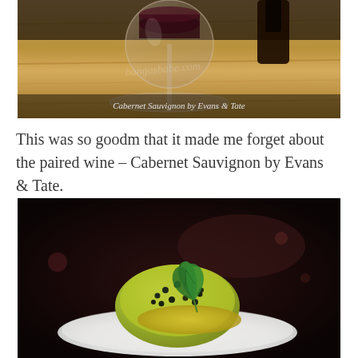[Figure (photo): A wine glass with red wine on a wooden table, with a watermark reading 'bangasbabe.com'. Caption overlaid at bottom: 'Cabernet Sauvignon by Evans & Tate']
Cabernet Sauvignon by Evans & Tate
This was so goodm that it made me forget about the paired wine – Cabernet Sauvignon by Evans & Tate.
[Figure (photo): A dessert on a white plate — a dome-shaped item covered in green sauce and small dark pearls, garnished with a fresh mint sprig, photographed in a dark restaurant setting.]